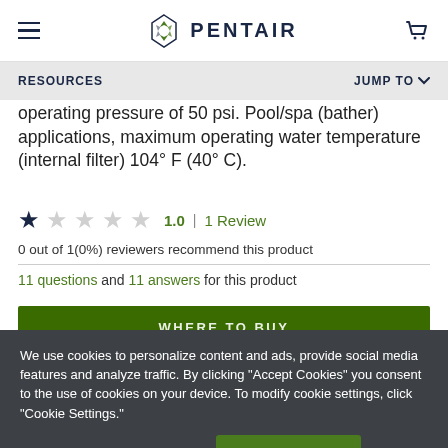PENTAIR
RESOURCES | JUMP TO
operating pressure of 50 psi. Pool/spa (bather) applications, maximum operating water temperature (internal filter) 104° F (40° C).
1.0 | 1 Review
0 out of 1(0%) reviewers recommend this product
11 questions and 11 answers for this product
WHERE TO BUY
We use cookies to personalize content and ads, provide social media features and analyze traffic. By clicking "Accept Cookies" you consent to the use of cookies on your device. To modify cookie settings, click "Cookie Settings."
Cookies Settings | Accept Cookies